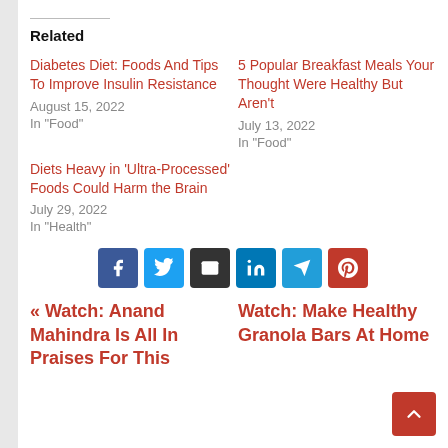Related
Diabetes Diet: Foods And Tips To Improve Insulin Resistance
August 15, 2022
In "Food"
5 Popular Breakfast Meals Your Thought Were Healthy But Aren't
July 13, 2022
In "Food"
Diets Heavy in 'Ultra-Processed' Foods Could Harm the Brain
July 29, 2022
In "Health"
[Figure (infographic): Row of 6 social share buttons: Facebook (dark blue), Twitter (light blue), Email (dark/black), LinkedIn (blue), Telegram (cyan-blue), Pinterest (red)]
« Watch: Anand Mahindra Is All In Praises For This
Watch: Make Healthy Granola Bars At Home